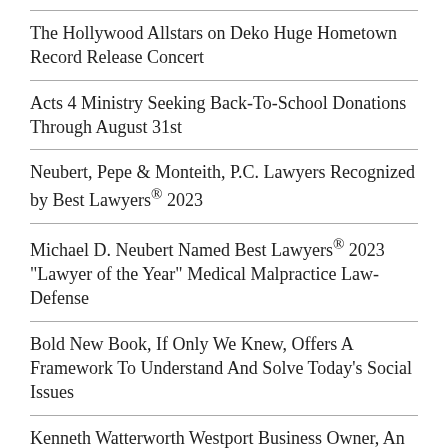The Hollywood Allstars on Deko Huge Hometown Record Release Concert
Acts 4 Ministry Seeking Back-To-School Donations Through August 31st
Neubert, Pepe & Monteith, P.C. Lawyers Recognized by Best Lawyers® 2023
Michael D. Neubert Named Best Lawyers® 2023 "Lawyer of the Year" Medical Malpractice Law-Defense
Bold New Book, If Only We Knew, Offers A Framework To Understand And Solve Today's Social Issues
Kenneth Watterworth Westport Business Owner, An